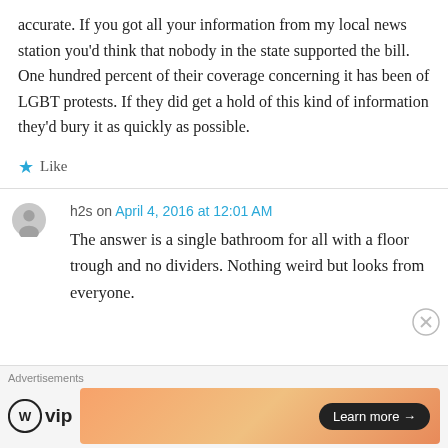accurate. If you got all your information from my local news station you'd think that nobody in the state supported the bill. One hundred percent of their coverage concerning it has been of LGBT protests. If they did get a hold of this kind of information they'd bury it as quickly as possible.
★ Like
h2s on April 4, 2016 at 12:01 AM
The answer is a single bathroom for all with a floor trough and no dividers. Nothing weird but looks from everyone.
Advertisements
[Figure (logo): WordPress VIP logo with WP circular icon and 'vip' text]
[Figure (illustration): Advertisement banner with orange/peach gradient and Learn more button]